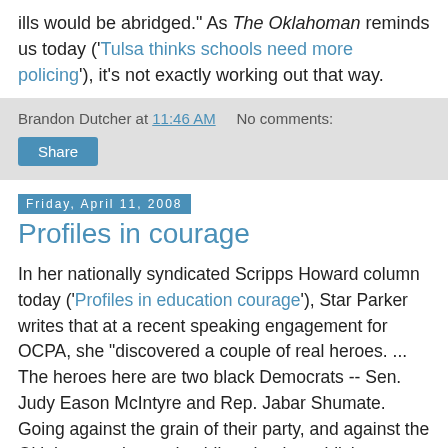ills would be abridged." As The Oklahoman reminds us today ('Tulsa thinks schools need more policing'), it's not exactly working out that way.
Brandon Dutcher at 11:46 AM   No comments:
Share
Friday, April 11, 2008
Profiles in courage
In her nationally syndicated Scripps Howard column today ('Profiles in education courage'), Star Parker writes that at a recent speaking engagement for OCPA, she "discovered a couple of real heroes. ... The heroes here are two black Democrats -- Sen. Judy Eason McIntyre and Rep. Jabar Shumate. Going against the grain of their party, and against the Oklahoma union and public-school establishments, these brave souls are championing this initiative [the New Hope Scholarship Act]."